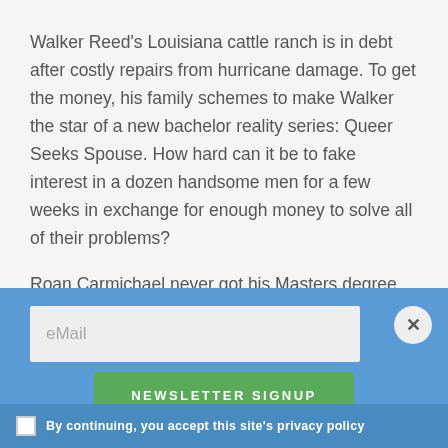Walker Reed's Louisiana cattle ranch is in debt after costly repairs from hurricane damage. To get the money, his family schemes to make Walker the star of a new bachelor reality series: Queer Seeks Spouse. How hard can it be to fake interest in a dozen handsome men for a few weeks in exchange for enough money to solve all of their problems?
Roan Carmichael never got his Masters degree after his mother was diagnosed with cancer. With medical
eMail
NEWSLETTER SIGNUP
By continuing, you accept this site's privacy policy